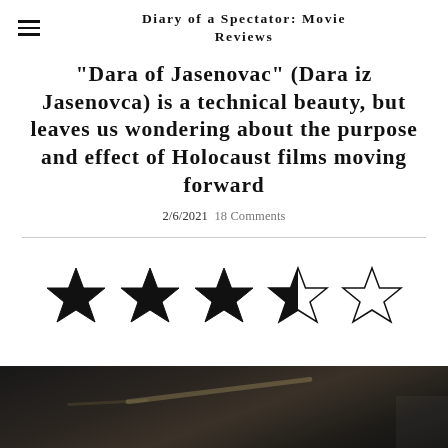Diary of a Spectator: Movie Reviews
“Dara of Jasenovac” (Dara iz Jasenovca) is a technical beauty, but leaves us wondering about the purpose and effect of Holocaust films moving forward
2/6/2021  18 Comments
[Figure (infographic): Star rating showing 3.5 out of 5 stars: three fully filled stars, one half-filled star, one empty star]
[Figure (photo): Dark cinematic still from the film, showing a dimly lit scene with warm tones]